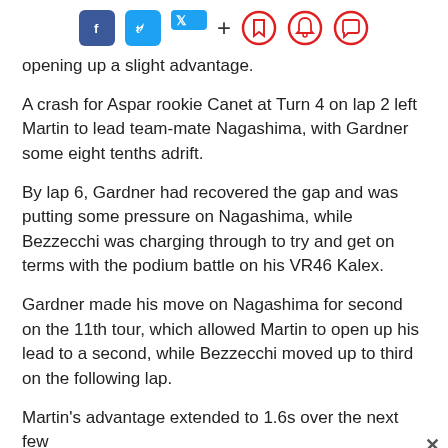Social share bar with Facebook, Twitter, plus, bookmark, bell, and comment icons
opening up a slight advantage.
A crash for Aspar rookie Canet at Turn 4 on lap 2 left Martin to lead team-mate Nagashima, with Gardner some eight tenths adrift.
By lap 6, Gardner had recovered the gap and was putting some pressure on Nagashima, while Bezzecchi was charging through to try and get on terms with the podium battle on his VR46 Kalex.
Gardner made his move on Nagashima for second on the 11th tour, which allowed Martin to open up his lead to a second, while Bezzecchi moved up to third on the following lap.
Martin's advantage extended to 1.6s over the next few laps, with it growing to over two seconds when